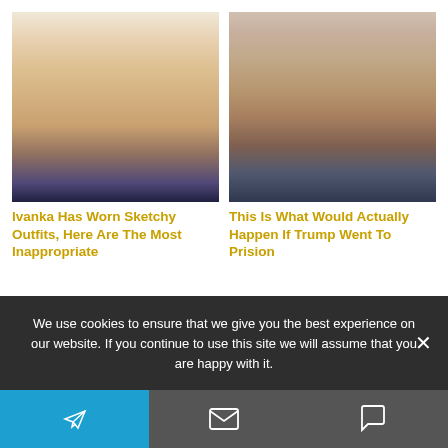[Figure (photo): Photo of a blonde woman smiling, wearing earrings]
[Figure (photo): Photo of an older man with blonde hair, frowning, wearing a suit and red tie]
Ivanka Has Worn Sketchy Outfits, Here Are The Most Inappropriate
This Is What Would Actually Happen If Trump Went To Prision
We use cookies to ensure that we give you the best experience on our website. If you continue to use this site we will assume that you are happy with it.